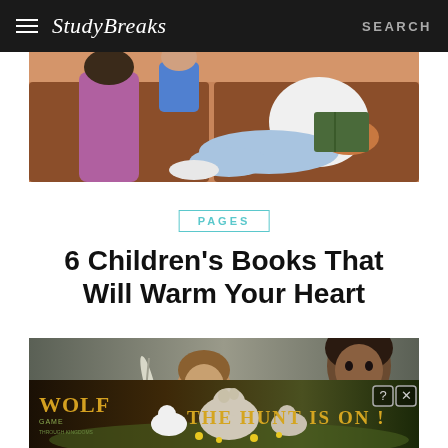Study Breaks — SEARCH
[Figure (illustration): Illustrated scene of a person reading a book while sitting on a couch, with colorful cartoon-style art]
PAGES
6 Children's Books That Will Warm Your Heart
[Figure (photo): Two children in a dark studio-style photo, one holding a feather, looking at camera]
[Figure (other): Wolf Game advertisement banner: 'THE HUNT IS ON!' with wolves in a field]